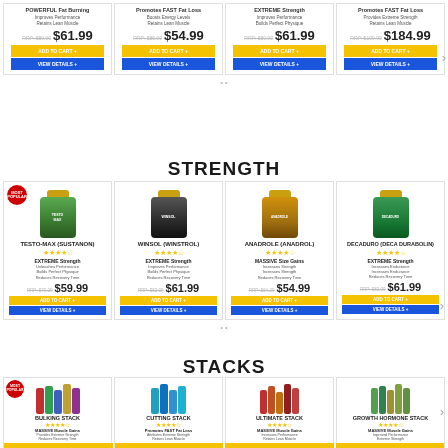[Figure (screenshot): E-commerce product listing page showing supplement products in three categories: top row (cutting/fat loss products), STRENGTH section with individual products (Testo-Max, Winsol, Anadrole, Decaduro), and STACKS section with bundle products (Bulking Stack, Cutting Stack, Ultimate Stack, Growth Hormone Stack). Each product card shows a bottle image, product name, star rating, description, RRP price, sale price, Add to Cart and View Details buttons.]